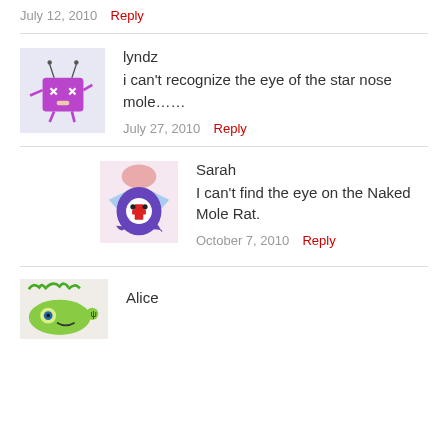July 12, 2010  Reply
[Figure (illustration): Avatar for lyndz: purple robot/monster cartoon character]
lyndz
i can't recognize the eye of the star nose mole……
July 27, 2010  Reply
[Figure (illustration): Avatar for Sarah: purple ghost/monster with brain and wings cartoon]
Sarah
I can't find the eye on the Naked Mole Rat.
October 7, 2010  Reply
[Figure (illustration): Avatar for Alice: green plant monster cartoon]
Alice